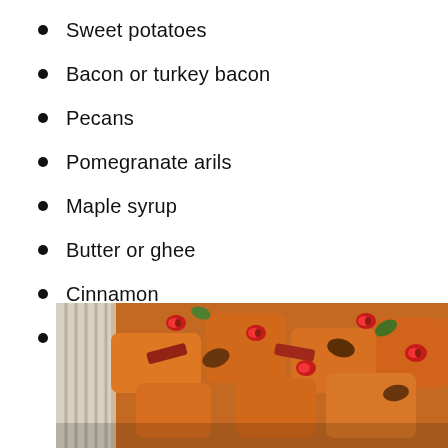Sweet potatoes
Bacon or turkey bacon
Pecans
Pomegranate arils
Maple syrup
Butter or ghee
Cinnamon
Nutmeg
[Figure (photo): Close-up photo of roasted sweet potato chunks topped with pomegranate arils, pecans, and bacon pieces in a dish]